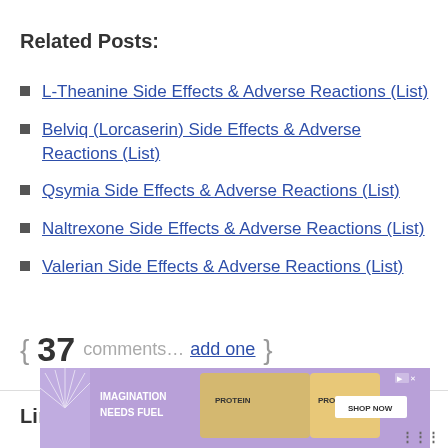Related Posts:
L-Theanine Side Effects & Adverse Reactions (List)
Belviq (Lorcaserin) Side Effects & Adverse Reactions (List)
Qsymia Side Effects & Adverse Reactions (List)
Naltrexone Side Effects & Adverse Reactions (List)
Valerian Side Effects & Adverse Reactions (List)
{ 37 comments… add one }
Links
[Figure (photo): Advertisement banner: Clif Bar protein bars ad with purple background, 'IMAGINATION NEEDS FUEL' text and 'SHOP NOW' button]